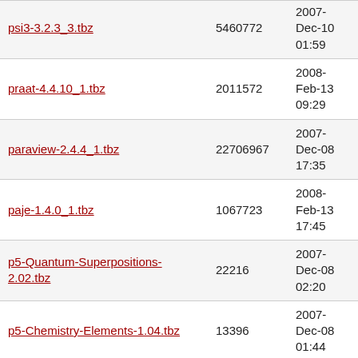| Name | Size | Date |
| --- | --- | --- |
| psi3-3.2.3_3.tbz | 5460772 | 2007-Dec-10 01:59 |
| praat-4.4.10_1.tbz | 2011572 | 2008-Feb-13 09:29 |
| paraview-2.4.4_1.tbz | 22706967 | 2007-Dec-08 17:35 |
| paje-1.4.0_1.tbz | 1067723 | 2008-Feb-13 17:45 |
| p5-Quantum-Superpositions-2.02.tbz | 22216 | 2007-Dec-08 02:20 |
| p5-Chemistry-Elements-1.04.tbz | 13396 | 2007-Dec-08 01:44 |
| p5-Algorithm-SVMLight-0.07.tbz | 27148 | 2008-Feb-13 08:50 |
| openbabel-2.1.1.tbz | 4070177 | 2007-Dec-08 07:03 |
| omnetpp-2.3p1_3.tbz | 3600440 | 2007-Dec-08 07:34 |
| oases-2.2_3.tbz | 2561860 | 2008-Feb-13 10:18 |
| nifticlib-0.4.tbz | 175706 | 2007-Dec-08 03:34 |